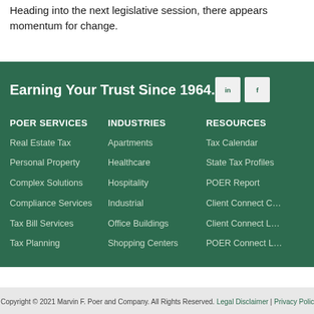Heading into the next legislative session, there appears momentum for change.
Earning Your Trust Since 1964.
POER SERVICES
Real Estate Tax
Personal Property
Complex Solutions
Compliance Services
Tax Bill Services
Tax Planning
INDUSTRIES
Apartments
Healthcare
Hospitality
Industrial
Office Buildings
Shopping Centers
RESOURCES
Tax Calendar
State Tax Profiles
POER Report
Client Connect C…
Client Connect L…
POER Connect L…
Copyright © 2021 Marvin F. Poer and Company. All Rights Reserved. Legal Disclaimer | Privacy Polic…